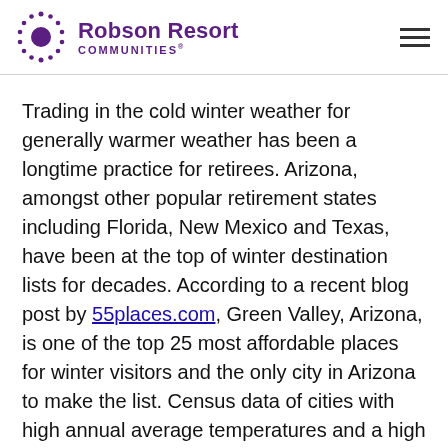Robson Resort COMMUNITIES
Trading in the cold winter weather for generally warmer weather has been a longtime practice for retirees. Arizona, amongst other popular retirement states including Florida, New Mexico and Texas, have been at the top of winter destination lists for decades. According to a recent blog post by 55places.com, Green Valley, Arizona, is one of the top 25 most affordable places for winter visitors and the only city in Arizona to make the list. Census data of cities with high annual average temperatures and a high population of those 50 years old and greater along with additional metrics including income-to-home cost, cost of living, average temperature…